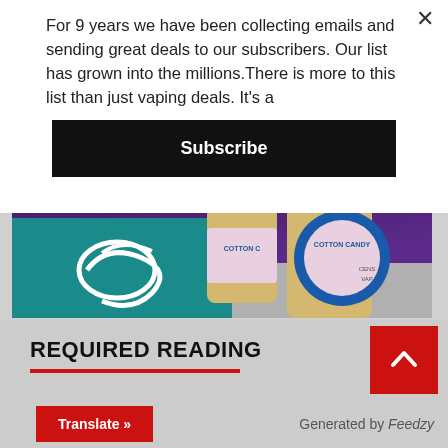For 9 years we have been collecting emails and sending great deals to our subscribers. Our list has grown into the millions.There is more to this list than just vaping deals. It's a
Subscribe
[Figure (photo): Product photo showing Cotton Candy vape liquid bottles with a teal/purple background and a white swirl logo on the left]
REQUIRED READING
Translate »
Generated by Feedzy